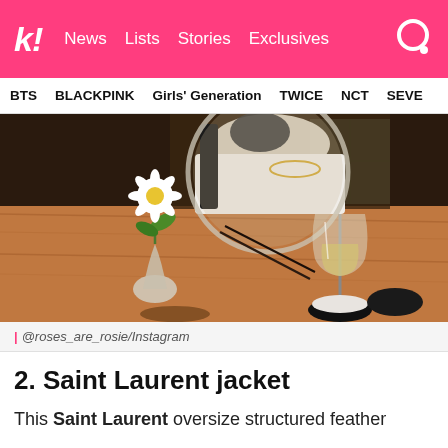k! News Lists Stories Exclusives [search]
BTS  BLACKPINK  Girls' Generation  TWICE  NCT  SEVE
[Figure (photo): A person reflected in a circular mirror at a restaurant table, with a white daisy in a small glass vase and a champagne glass in the foreground on a wooden table.]
| @roses_are_rosie/Instagram
2. Saint Laurent jacket
This Saint Laurent oversize structured feather